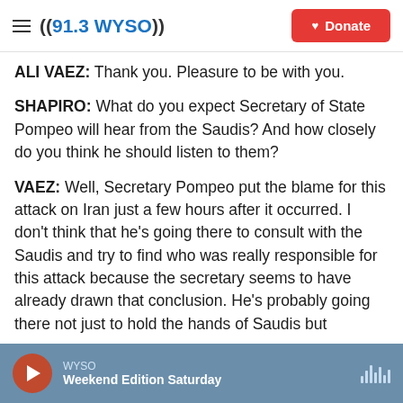((91.3 WYSO)) | Donate
ALI VAEZ: Thank you. Pleasure to be with you.
SHAPIRO: What do you expect Secretary of State Pompeo will hear from the Saudis? And how closely do you think he should listen to them?
VAEZ: Well, Secretary Pompeo put the blame for this attack on Iran just a few hours after it occurred. I don't think that he's going there to consult with the Saudis and try to find who was really responsible for this attack because the secretary seems to have already drawn that conclusion. He's probably going there not just to hold the hands of Saudis but
WYSO — Weekend Edition Saturday